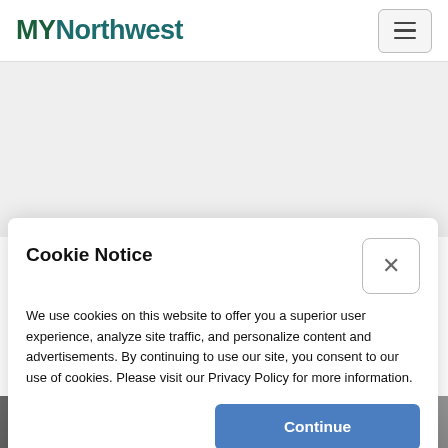[Figure (logo): MYNorthwest logo in green/teal text]
Cookie Notice
We use cookies on this website to offer you a superior user experience, analyze site traffic, and personalize content and advertisements. By continuing to use our site, you consent to our use of cookies. Please visit our Privacy Policy for more information.
[Figure (photo): Partial photo visible at bottom of page]